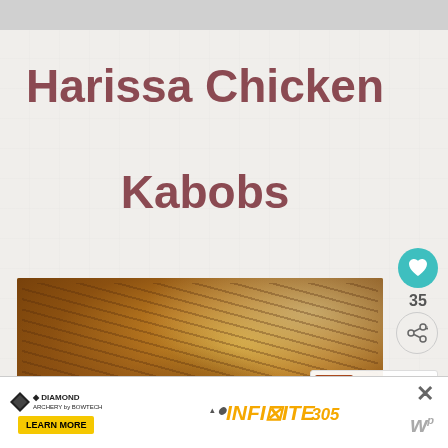Harissa Chicken Kabobs
[Figure (photo): Close-up photo of harissa chicken kabobs on skewers, golden-brown grilled chicken with herbs and spices]
[Figure (photo): What's Next thumbnail showing 19+ BEST Stuffed... recipe card]
[Figure (other): Diamond Archery advertisement banner with INFINITE 305 product and LEARN MORE button]